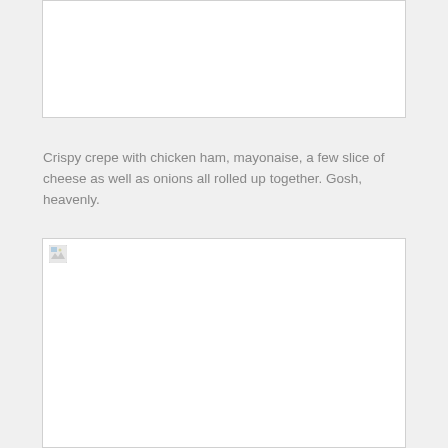[Figure (photo): Empty white image placeholder box (top)]
Crispy crepe with chicken ham, mayonaise, a few slice of cheese as well as onions all rolled up together. Gosh, heavenly.
[Figure (photo): Empty white image placeholder box with broken image icon (bottom)]